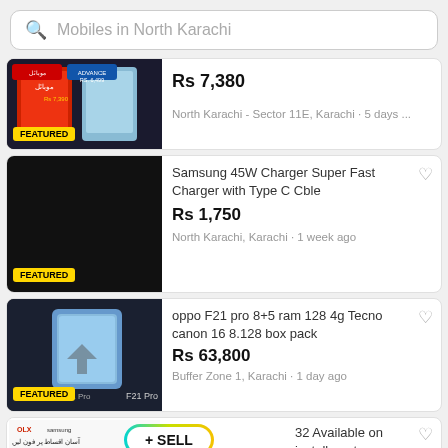[Figure (screenshot): Search bar with text 'Mobiles in North Karachi']
[Figure (screenshot): Featured listing card 1: phone product image with FEATURED badge, price Rs 7,380, location North Karachi - Sector 11E, Karachi, 5 days ago]
[Figure (screenshot): Featured listing card 2: Samsung 45W Charger Super Fast Charger with Type C Cble, Rs 1,750, North Karachi, Karachi, 1 week ago, FEATURED badge]
[Figure (screenshot): Featured listing card 3: oppo F21 pro 8+5 ram 128 4g Tecno canon 16 8.128 box pack, Rs 63,800, Buffer Zone 1, Karachi, 1 day ago, FEATURED badge]
[Figure (screenshot): Listing card 4 partial: Samsung A32 Available on installments, + SELL button overlay]